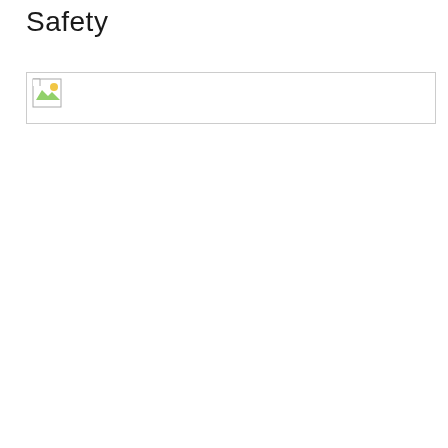Safety
[Figure (other): A broken/missing image placeholder with a small landscape icon in the top-left corner, displayed inside a bordered box.]